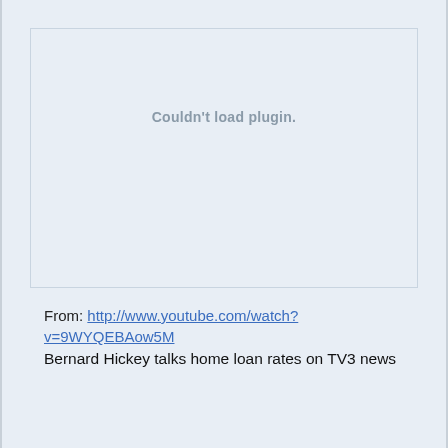[Figure (other): Embedded plugin area showing 'Couldn't load plugin.' message — a failed video embed placeholder]
From: http://www.youtube.com/watch?v=9WYQEBAow5M
Bernard Hickey talks home loan rates on TV3 news